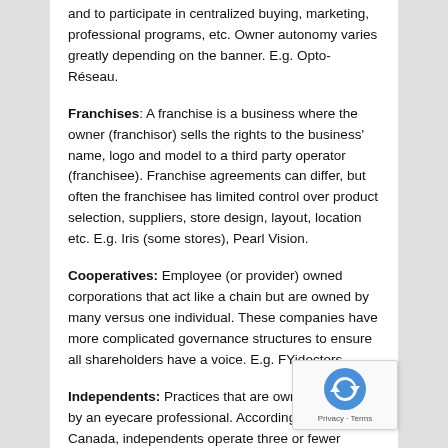and to participate in centralized buying, marketing, professional programs, etc. Owner autonomy varies greatly depending on the banner. E.g. Opto-Réseau.
Franchises: A franchise is a business where the owner (franchisor) sells the rights to the business' name, logo and model to a third party operator (franchisee). Franchise agreements can differ, but often the franchisee has limited control over product selection, suppliers, store design, layout, location etc. E.g. Iris (some stores), Pearl Vision.
Cooperatives: Employee (or provider) owned corporations that act like a chain but are owned by many versus one individual. These companies have more complicated governance structures to ensure all shareholders have a voice. E.g. FYidoctors
Independents: Practices that are owner-operated by an eyecare professional. According to Statistics Canada, independents operate three or fewer stores, while more